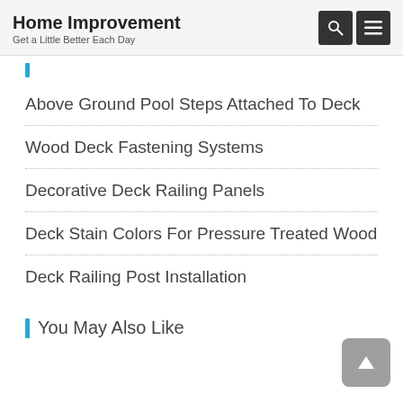Home Improvement
Get a Little Better Each Day
Above Ground Pool Steps Attached To Deck
Wood Deck Fastening Systems
Decorative Deck Railing Panels
Deck Stain Colors For Pressure Treated Wood
Deck Railing Post Installation
You May Also Like